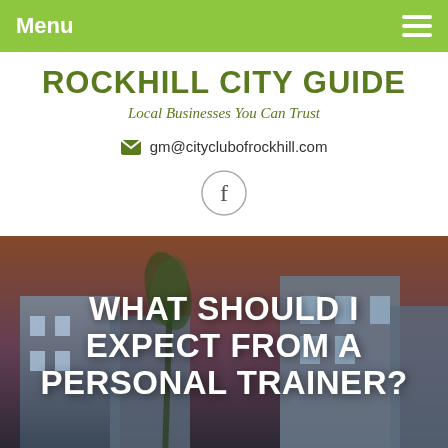Menu
ROCKHILL CITY GUIDE
Local Businesses You Can Trust
gm@cityclubofrockhill.com
[Figure (logo): Facebook logo in a circle]
WHAT SHOULD I EXPECT FROM A PERSONAL TRAINER?